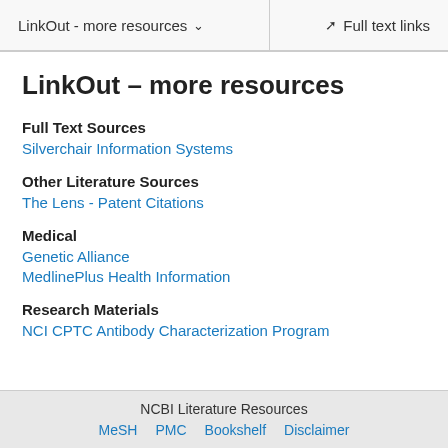LinkOut - more resources  Full text links
LinkOut – more resources
Full Text Sources
Silverchair Information Systems
Other Literature Sources
The Lens - Patent Citations
Medical
Genetic Alliance
MedlinePlus Health Information
Research Materials
NCI CPTC Antibody Characterization Program
NCBI Literature Resources  MeSH  PMC  Bookshelf  Disclaimer